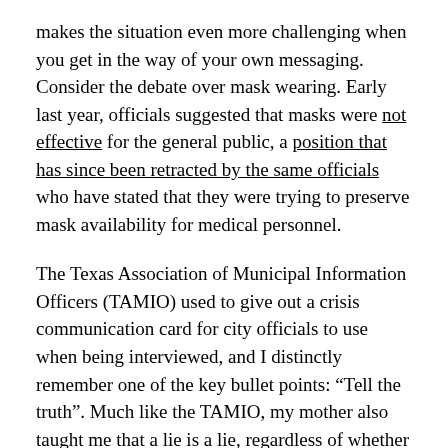makes the situation even more challenging when you get in the way of your own messaging. Consider the debate over mask wearing. Early last year, officials suggested that masks were not effective for the general public, a position that has since been retracted by the same officials who have stated that they were trying to preserve mask availability for medical personnel.
The Texas Association of Municipal Information Officers (TAMIO) used to give out a crisis communication card for city officials to use when being interviewed, and I distinctly remember one of the key bullet points: “Tell the truth”. Much like the TAMIO, my mother also taught me that a lie is a lie, regardless of whether you said something overtly false or you left out pertinent information.
Telling the public it is not necessary to wear a mask